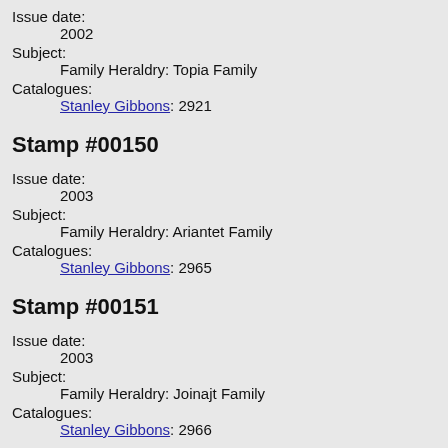Issue date:
2002
Subject:
Family Heraldry: Topia Family
Catalogues:
Stanley Gibbons: 2921
Stamp #00150
Issue date:
2003
Subject:
Family Heraldry: Ariantet Family
Catalogues:
Stanley Gibbons: 2965
Stamp #00151
Issue date:
2003
Subject:
Family Heraldry: Joinajt Family
Catalogues:
Stanley Gibbons: 2966